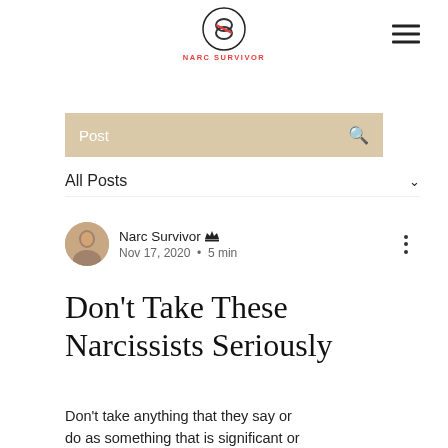Narc Survivor
[Figure (logo): Narc Survivor logo with circular icon and brand name below]
Post [search bar with search icon]
All Posts
Narc Survivor Admin
Nov 17, 2020  •  5 min
Don't Take These Narcissists Seriously
Don't take anything that they say or do as something that is significant or